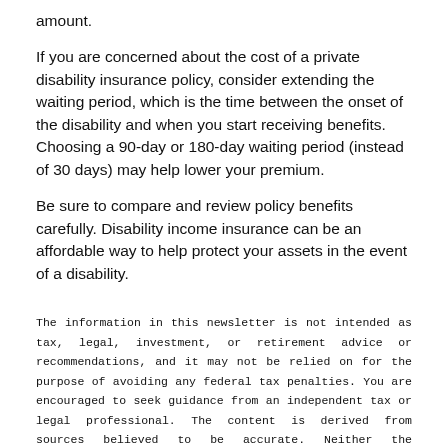amount.
If you are concerned about the cost of a private disability insurance policy, consider extending the waiting period, which is the time between the onset of the disability and when you start receiving benefits. Choosing a 90-day or 180-day waiting period (instead of 30 days) may help lower your premium.
Be sure to compare and review policy benefits carefully. Disability income insurance can be an affordable way to help protect your assets in the event of a disability.
The information in this newsletter is not intended as tax, legal, investment, or retirement advice or recommendations, and it may not be relied on for the purpose of avoiding any federal tax penalties. You are encouraged to seek guidance from an independent tax or legal professional. The content is derived from sources believed to be accurate. Neither the information presented nor any opinion expressed constitutes a solicitation for the purchase or sale of any security. This material was written and prepared by